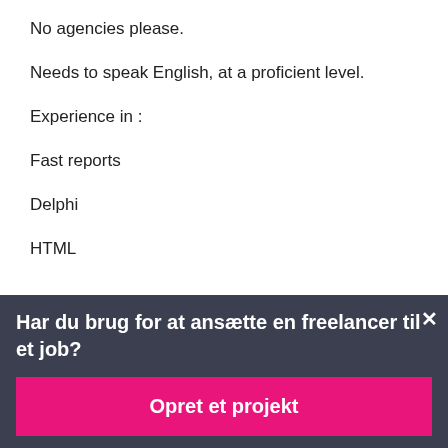No agencies please.
Needs to speak English, at a proficient level.
Experience in :
Fast reports
Delphi
HTML
Har du brug for at ansætte en freelancer til et job?
Opret et projekt